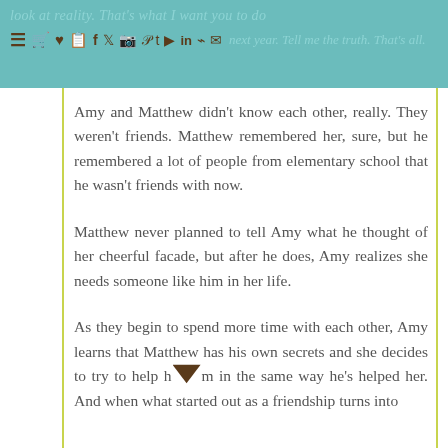look at reality. That's what I want you to do next year. Tell me the truth. That's all.
Amy and Matthew didn't know each other, really. They weren't friends. Matthew remembered her, sure, but he remembered a lot of people from elementary school that he wasn't friends with now.
Matthew never planned to tell Amy what he thought of her cheerful facade, but after he does, Amy realizes she needs someone like him in her life.
As they begin to spend more time with each other, Amy learns that Matthew has his own secrets and she decides to try to help him in the same way he's helped her. And when what started out as a friendship turns into